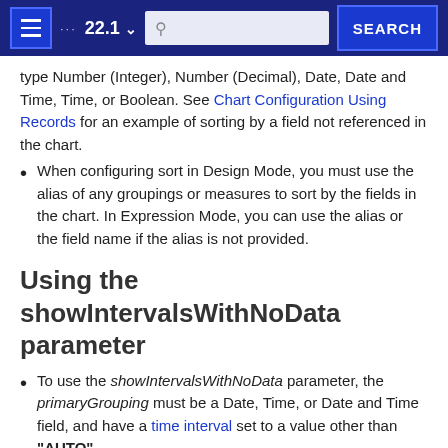22.1 SEARCH
type Number (Integer), Number (Decimal), Date, Date and Time, Time, or Boolean. See Chart Configuration Using Records for an example of sorting by a field not referenced in the chart.
When configuring sort in Design Mode, you must use the alias of any groupings or measures to sort by the fields in the chart. In Expression Mode, you can use the alias or the field name if the alias is not provided.
Using the showIntervalsWithNoData parameter
To use the showIntervalsWithNoData parameter, the primaryGrouping must be a Date, Time, or Date and Time field, and have a time interval set to a value other than "AUTO".